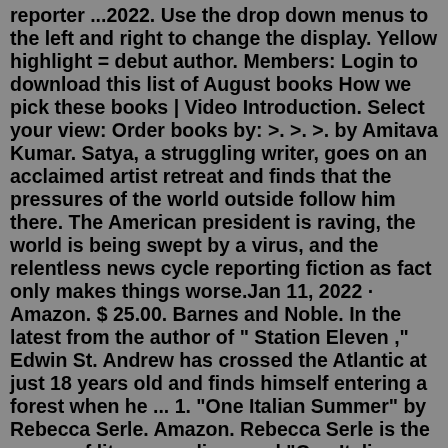reporter ...2022. Use the drop down menus to the left and right to change the display. Yellow highlight = debut author. Members: Login to download this list of August books How we pick these books | Video Introduction. Select your view: Order books by: >. >. >. by Amitava Kumar. Satya, a struggling writer, goes on an acclaimed artist retreat and finds that the pressures of the world outside follow him there. The American president is raving, the world is being swept by a virus, and the relentless news cycle reporting fiction as fact only makes things worse.Jan 11, 2022 · Amazon. $ 25.00. Barnes and Noble. In the latest from the author of " Station Eleven ," Edwin St. Andrew has crossed the Atlantic at just 18 years old and finds himself entering a forest when he ... 1. "One Italian Summer" by Rebecca Serle. Amazon. Rebecca Serle is the queen of literary realism, and "One Italian Summer" is no exception to her track record. This hot new release is part ...Dewdrop and Banyan Tree | Ramachandran Rajasekharan | Book Review. By Sankalpita on June 27, 2022 in Book